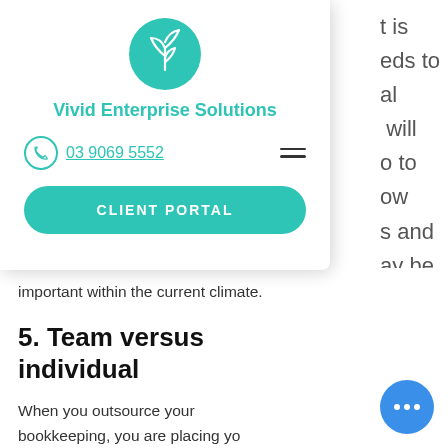[Figure (logo): Teal circular logo with leaf/plant icon for Vivid Enterprise Solutions]
Vivid Enterprise Solutions
03 9069 5552
[Figure (other): CLIENT PORTAL button and hamburger menu icon]
important within the current climate.
5. Team versus individual
When you outsource your bookkeeping, you are placing yo… accounts in the hands of group … staff that work as a team. By